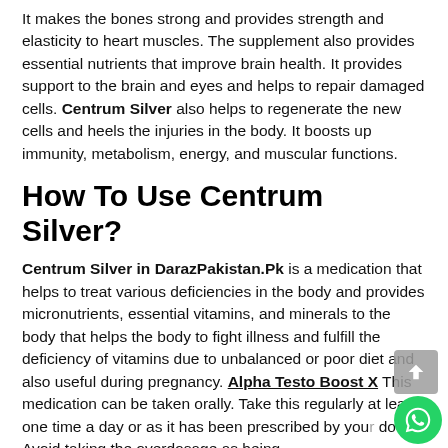It makes the bones strong and provides strength and elasticity to heart muscles. The supplement also provides essential nutrients that improve brain health. It provides support to the brain and eyes and helps to repair damaged cells. Centrum Silver also helps to regenerate the new cells and heels the injuries in the body. It boosts up immunity, metabolism, energy, and muscular functions.
How To Use Centrum Silver?
Centrum Silver in DarazPakistan.Pk is a medication that helps to treat various deficiencies in the body and provides micronutrients, essential vitamins, and minerals to the body that helps the body to fight illness and fulfill the deficiency of vitamins due to unbalanced or poor diet and also useful during pregnancy. Alpha Testo Boost X This medication can be taken orally. Take this regularly at least one time a day or as it has been prescribed by your doctor. Avoid taking the overdosage as being